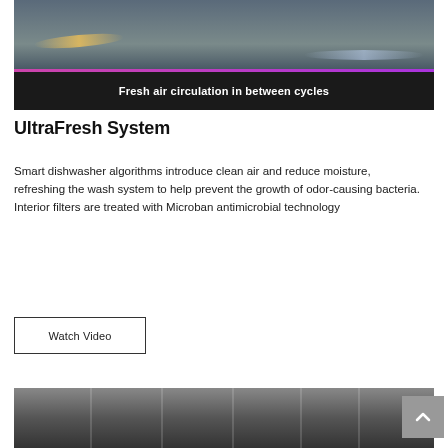[Figure (photo): Photo of a dishwasher/kitchen appliance interior with light strips and a dark banner overlay reading 'Fresh air circulation in between cycles']
UltraFresh System
Smart dishwasher algorithms introduce clean air and reduce moisture, refreshing the wash system to help prevent the growth of odor-causing bacteria. Interior filters are treated with Microban antimicrobial technology
Watch Video
[Figure (photo): Partial photo of dishwasher interior racks in black and white/grayscale]